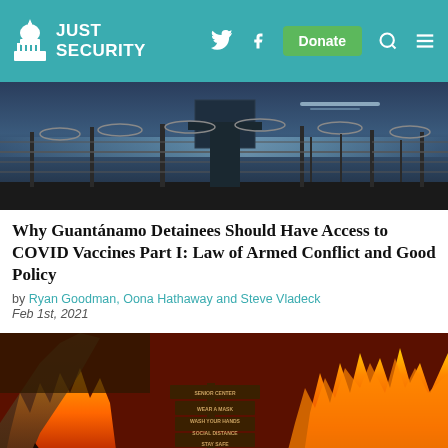Just Security
[Figure (photo): Guantanamo Bay detention facility fence with razor wire at dusk, watchtowers visible]
Why Guantánamo Detainees Should Have Access to COVID Vaccines Part I: Law of Armed Conflict and Good Policy
by Ryan Goodman, Oona Hathaway and Steve Vladeck
Feb 1st, 2021
[Figure (photo): Wildfire with large flames and smoke, a sign reading SENIOR CENTER WEAR A MASK WASH YOUR HANDS SOCIAL DISTANCE STAY SAFE visible in foreground]
A article of American Thrones Prohibition A relative...